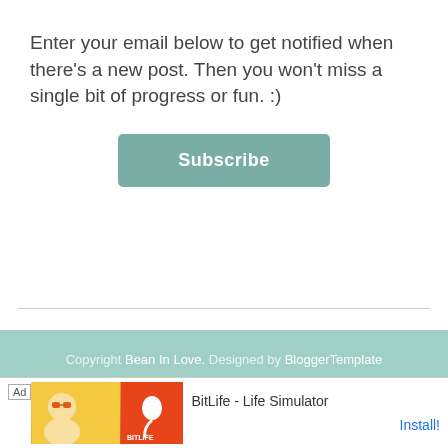Enter your email below to get notified when there’s a new post. Then you won’t miss a single bit of progress or fun. :)
Subscribe
Copyright Bean In Love. Designed by BloggerTemplate
[Figure (logo): SHE Media Collective HOME + DIY logo with play button icon]
Learn More | Privacy
[Figure (screenshot): Ad banner: BitLife - Life Simulator game advertisement with Install button]